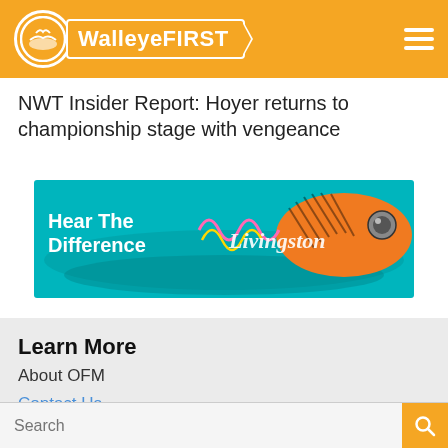WalleyeFIRST
NWT Insider Report: Hoyer returns to championship stage with vengeance
[Figure (illustration): Livingston lures advertisement banner reading 'Hear The Difference' with colorful tiger-striped fishing lure on teal water background]
Learn More
About OFM
Contact Us
Logos
Privacy
Jobs